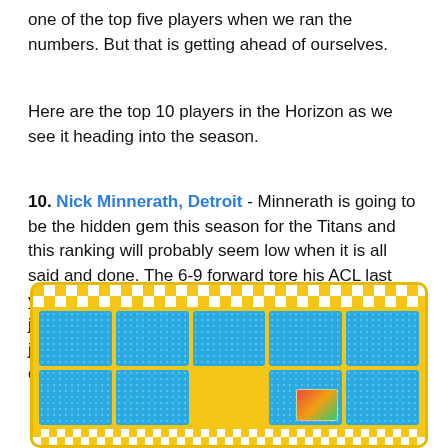one of the top five players when we ran the numbers. But that is getting ahead of ourselves.
Here are the top 10 players in the Horizon as we see it heading into the season.
10. Nick Minnerath, Detroit - Minnerath is going to be the hidden gem this season for the Titans and this ranking will probably seem low when it is all said and done. The 6-9 forward tore his ACL last year, and missed the bulk of the season after jumping off to quite a start. This was coming off a junior year that had him as the second best offensive player on Detroit.
[Figure (other): Advertisement banner with yellow and blue checkerboard border pattern containing a grid of blue dotted cells]